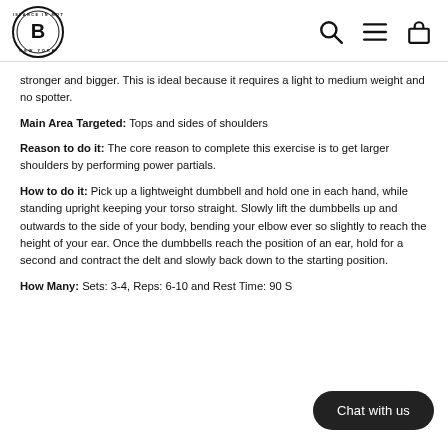Resistance in Motion New York logo with search, menu, and cart icons
stronger and bigger. This is ideal because it requires a light to medium weight and no spotter.
Main Area Targeted: Tops and sides of shoulders
Reason to do it: The core reason to complete this exercise is to get larger shoulders by performing power partials.
How to do it: Pick up a lightweight dumbbell and hold one in each hand, while standing upright keeping your torso straight. Slowly lift the dumbbells up and outwards to the side of your body, bending your elbow ever so slightly to reach the height of your ear. Once the dumbbells reach the position of an ear, hold for a second and contract the delt and slowly back down to the starting position.
How Many: Sets: 3-4, Reps: 6-10 and Rest Time: 90 S